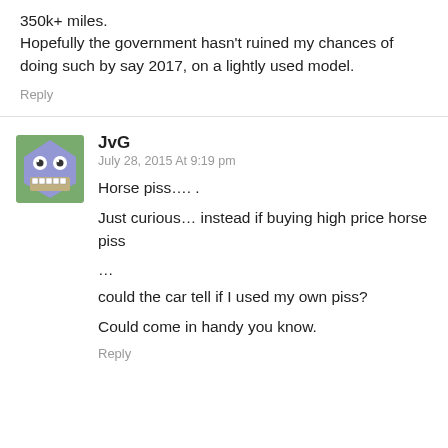350k+ miles.
Hopefully the government hasn't ruined my chances of doing such by say 2017, on a lightly used model.
Reply
[Figure (illustration): Avatar image of a cartoon robot/monster face with a purple/blue diamond-shaped head, teeth showing, on a green background]
JvG
July 28, 2015 At 9:19 pm
Horse piss…. .

Just curious… instead if buying high price horse piss

…

could the car tell if I used my own piss?

Could come in handy you know.
Reply